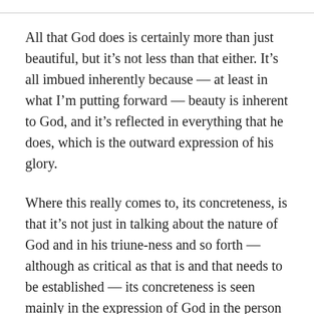All that God does is certainly more than just beautiful, but it’s not less than that either. It’s all imbued inherently because — at least in what I’m putting forward — beauty is inherent to God, and it’s reflected in everything that he does, which is the outward expression of his glory.
Where this really comes to, its concreteness, is that it’s not just in talking about the nature of God and in his triune-ness and so forth — although as critical as that is and that needs to be established — its concreteness is seen mainly in the expression of God in the person of Christ.
I argued that the Son’s fittingness as incarnate